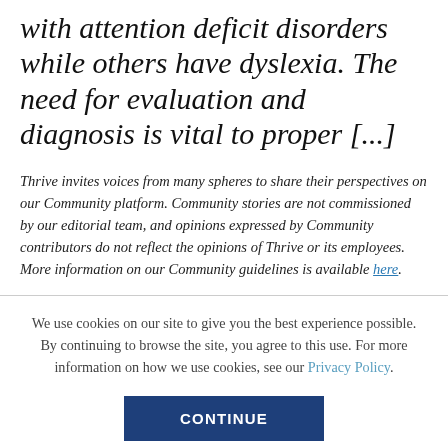with attention deficit disorders while others have dyslexia. The need for evaluation and diagnosis is vital to proper [...]
Thrive invites voices from many spheres to share their perspectives on our Community platform. Community stories are not commissioned by our editorial team, and opinions expressed by Community contributors do not reflect the opinions of Thrive or its employees. More information on our Community guidelines is available here.
We use cookies on our site to give you the best experience possible. By continuing to browse the site, you agree to this use. For more information on how we use cookies, see our Privacy Policy.
CONTINUE